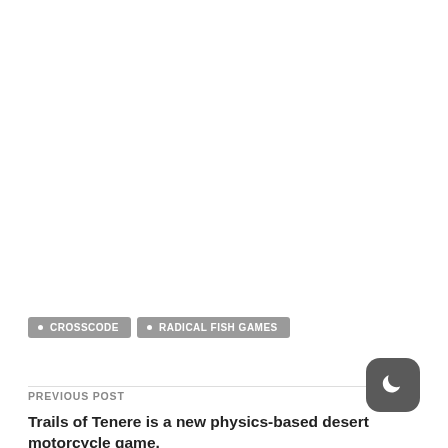• CROSSCODE
• RADICAL FISH GAMES
PREVIOUS POST
Trails of Tenere is a new physics-based desert motorcycle game,